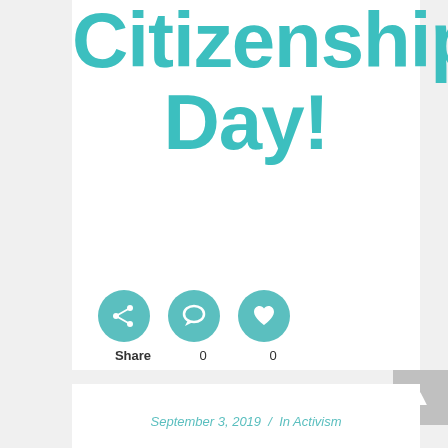Citizenship Day!
[Figure (infographic): Three teal circular social media buttons: share icon, comment/chat icon, and heart/like icon. Below them are labels: Share, 0, 0]
Share   0   0
September 3, 2019  /  In Activism